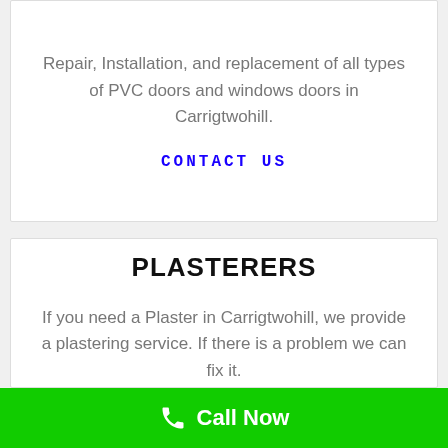Repair, Installation, and replacement of all types of PVC doors and windows doors in Carrigtwohill.
CONTACT US
PLASTERERS
If you need a Plaster in Carrigtwohill, we provide a plastering service. If there is a problem we can fix it.
Call Now